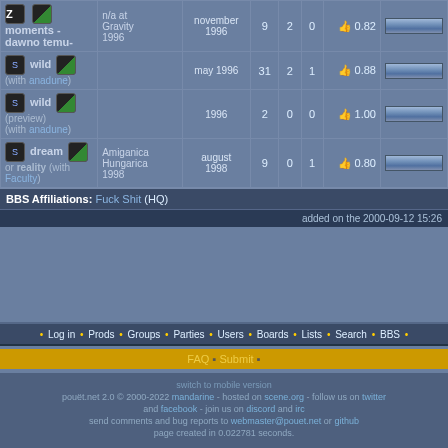| prod | party | date | dl | gl | pl | rating | bar |
| --- | --- | --- | --- | --- | --- | --- | --- |
| moments - dawno temu- | n/a at Gravity 1996 | november 1996 | 9 | 2 | 0 | 0.82 |  |
| wild (with anadune) |  | may 1996 | 31 | 2 | 1 | 0.88 |  |
| wild (preview) (with anadune) |  | 1996 | 2 | 0 | 0 | 1.00 |  |
| dream or reality (with Faculty) | Amiganica Hungarica 1998 | august 1998 | 9 | 0 | 1 | 0.80 |  |
BBS Affiliations: Fuck Shit (HQ)
added on the 2000-09-12 15:26
• Log in • Prods • Groups • Parties • Users • Boards • Lists • Search • BBS •
FAQ • Submit •
switch to mobile version
pouët.net 2.0 © 2000-2022 mandarine - hosted on scene.org - follow us on twitter and facebook - join us on discord and irc
send comments and bug reports to webmaster@pouet.net or github
page created in 0.022781 seconds.